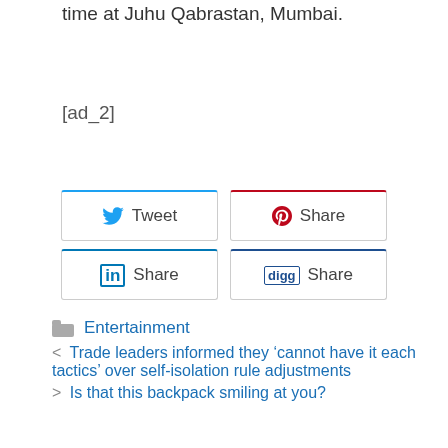The funeral will happen on Wednesday night time at Juhu Qabrastan, Mumbai.
[ad_2]
[Figure (other): Social share buttons: Tweet (Twitter), Share (Pinterest), Share (LinkedIn), Share (Digg)]
Entertainment
Trade leaders informed they ‘cannot have it each tactics’ over self-isolation rule adjustments
Is that this backpack smiling at you?